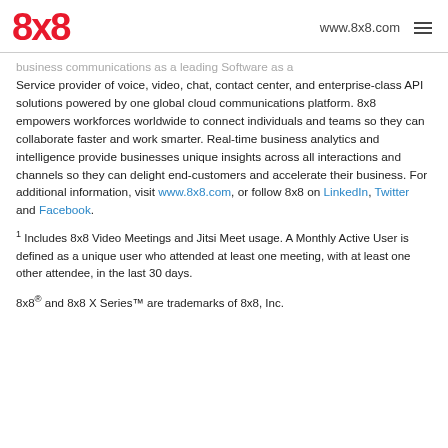8x8  www.8x8.com
business communications as a leading Software as a Service provider of voice, video, chat, contact center, and enterprise-class API solutions powered by one global cloud communications platform. 8x8 empowers workforces worldwide to connect individuals and teams so they can collaborate faster and work smarter. Real-time business analytics and intelligence provide businesses unique insights across all interactions and channels so they can delight end-customers and accelerate their business. For additional information, visit www.8x8.com, or follow 8x8 on LinkedIn, Twitter and Facebook.
1 Includes 8x8 Video Meetings and Jitsi Meet usage. A Monthly Active User is defined as a unique user who attended at least one meeting, with at least one other attendee, in the last 30 days.
8x8® and 8x8 X Series™ are trademarks of 8x8, Inc.